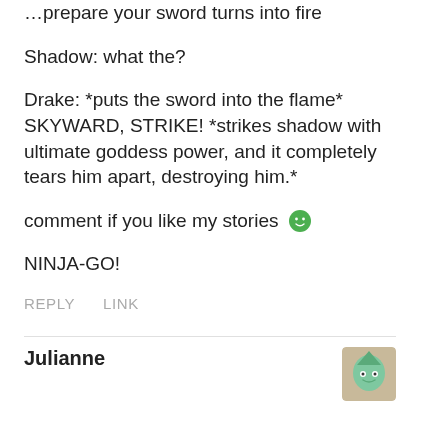…prepare your sword turns into fire
Shadow: what the?
Drake: *puts the sword into the flame* SKYWARD, STRIKE! *strikes shadow with ultimate goddess power, and it completely tears him apart, destroying him.*
comment if you like my stories 😀
NINJA-GO!
REPLY   LINK
Julianne